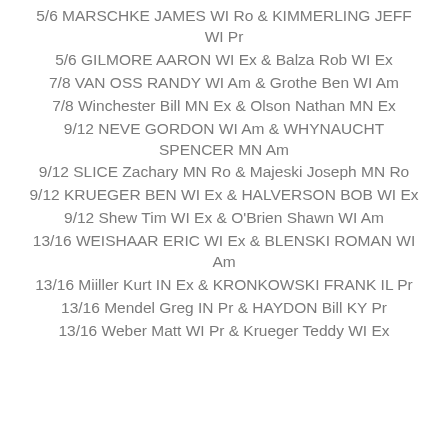5/6 MARSCHKE JAMES WI Ro & KIMMERLING JEFF WI Pr
5/6 GILMORE AARON WI Ex & Balza Rob WI Ex
7/8 VAN OSS RANDY WI Am & Grothe Ben WI Am
7/8 Winchester Bill MN Ex & Olson Nathan MN Ex
9/12 NEVE GORDON WI Am & WHYNAUCHT SPENCER MN Am
9/12 SLICE Zachary MN Ro & Majeski Joseph MN Ro
9/12 KRUEGER BEN WI Ex & HALVERSON BOB WI Ex
9/12 Shew Tim WI Ex & O'Brien Shawn WI Am
13/16 WEISHAAR ERIC WI Ex & BLENSKI ROMAN WI Am
13/16 Miiller Kurt IN Ex & KRONKOWSKI FRANK IL Pr
13/16 Mendel Greg IN Pr & HAYDON Bill KY Pr
13/16 Weber Matt WI Pr & Krueger Teddy WI Ex